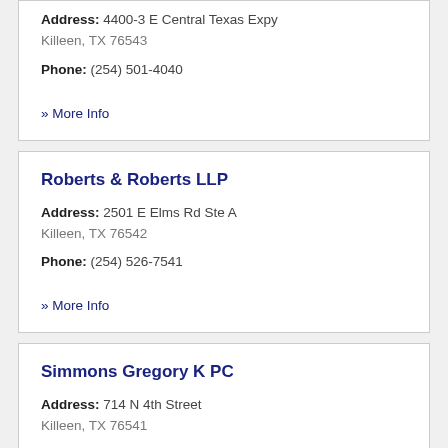Address: 4400-3 E Central Texas Expy
Killeen, TX 76543
Phone: (254) 501-4040
» More Info
Roberts & Roberts LLP
Address: 2501 E Elms Rd Ste A
Killeen, TX 76542
Phone: (254) 526-7541
» More Info
Simmons Gregory K PC
Address: 714 N 4th Street
Killeen, TX 76541